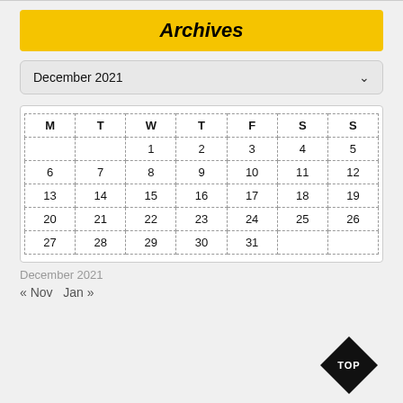Archives
December 2021
| M | T | W | T | F | S | S |
| --- | --- | --- | --- | --- | --- | --- |
|  |  | 1 | 2 | 3 | 4 | 5 |
| 6 | 7 | 8 | 9 | 10 | 11 | 12 |
| 13 | 14 | 15 | 16 | 17 | 18 | 19 |
| 20 | 21 | 22 | 23 | 24 | 25 | 26 |
| 27 | 28 | 29 | 30 | 31 |  |  |
December 2021
« Nov   Jan »
[Figure (other): Black diamond shaped TOP button]